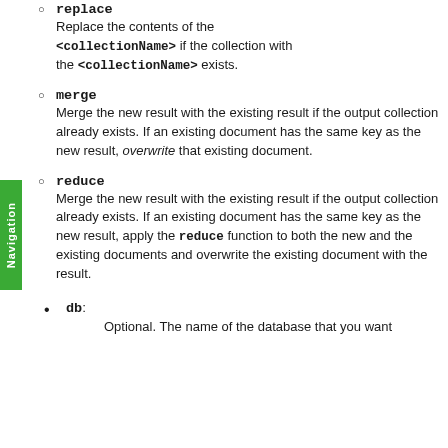replace — Replace the contents of the <collectionName> if the collection with the <collectionName> exists.
merge — Merge the new result with the existing result if the output collection already exists. If an existing document has the same key as the new result, overwrite that existing document.
reduce — Merge the new result with the existing result if the output collection already exists. If an existing document has the same key as the new result, apply the reduce function to both the new and the existing documents and overwrite the existing document with the result.
db: Optional. The name of the database that you want